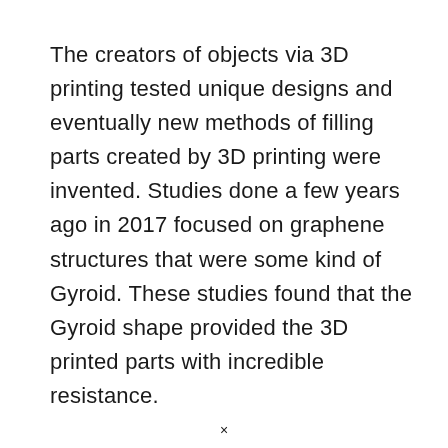The creators of objects via 3D printing tested unique designs and eventually new methods of filling parts created by 3D printing were invented. Studies done a few years ago in 2017 focused on graphene structures that were some kind of Gyroid. These studies found that the Gyroid shape provided the 3D printed parts with incredible resistance.
×